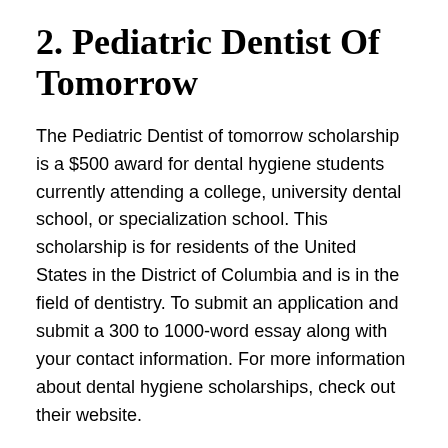2. Pediatric Dentist Of Tomorrow
The Pediatric Dentist of tomorrow scholarship is a $500 award for dental hygiene students currently attending a college, university dental school, or specialization school. This scholarship is for residents of the United States in the District of Columbia and is in the field of dentistry. To submit an application and submit a 300 to 1000-word essay along with your contact information. For more information about dental hygiene scholarships, check out their website.
Amount: $500
Scholarship: website